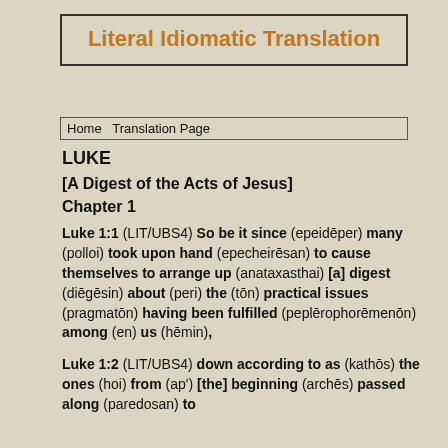Literal Idiomatic Translation
Home   Translation Page
LUKE
[A Digest of the Acts of Jesus]
Chapter 1
Luke 1:1 (LIT/UBS4) So be it since (epeidēper) many (polloi) took upon hand (epecheirēsan) to cause themselves to arrange up (anataxasthai) [a] digest (diēgēsin) about (peri) the (tōn) practical issues (pragmatōn) having been fulfilled (peplērophorēmenōn) among (en) us (hēmin),
Luke 1:2 (LIT/UBS4) down according to as (kathōs) the ones (hoi) from (ap') [the] beginning (archēs) passed along (paredosan) to